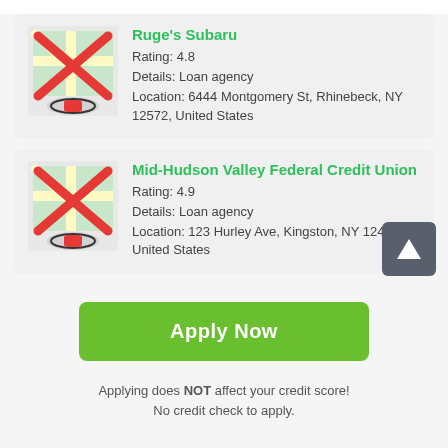[Figure (illustration): Map icon with red X and location pin, representing Ruge's Subaru location]
Ruge's Subaru
Rating: 4.8
Details: Loan agency
Location: 6444 Montgomery St, Rhinebeck, NY 12572, United States
[Figure (illustration): Map icon with red X and location pin, representing Mid-Hudson Valley Federal Credit Union location]
Mid-Hudson Valley Federal Credit Union
Rating: 4.9
Details: Loan agency
Location: 123 Hurley Ave, Kingston, NY 12401, United States
Apply Now
Applying does NOT affect your credit score!
No credit check to apply.